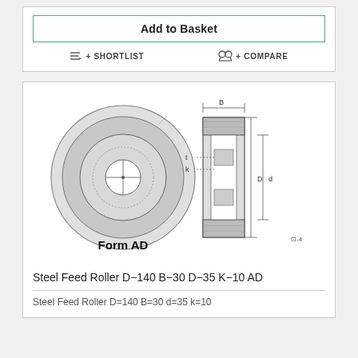Add to Basket
+ SHORTLIST   + COMPARE
[Figure (engineering-diagram): Engineering drawing of a Steel Feed Roller showing front circular view and cross-section side view labeled Form AD, with dimension annotations for D, B, d, k]
Steel Feed Roller D−140 B−30 D−35 K−10 AD
Steel Feed Roller D=140 B=30 d=35 k=10